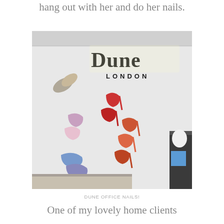Labna works there too, so I get to hang out with her and do her nails.
[Figure (photo): Interior of Dune London office or store. A white wall displays various shoes mounted on it - silver heels, pink/multi-color heels, red pumps, orange/red pointed heels, and blue flat shoes. The Dune London logo (large bold 'Dune' with 'LONDON' below) is illuminated on the upper portion of the wall. A dark counter/desk is partially visible at the right edge.]
DUNE OFFICE NAILS!
One of my lovely home clients